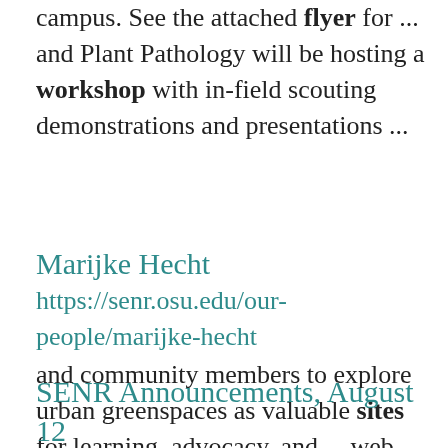campus. See the attached flyer for ... and Plant Pathology will be hosting a workshop with in-field scouting demonstrations and presentations ...
Marijke Hecht
https://senr.osu.edu/our-people/marijke-hecht and community members to explore urban greenspaces as valuable sites for learning, advocacy, and ... web sites: Environmental and Social Sustainability Lab: ess.osu.edu Courses Offered ENR 3611 ...
SENR Announcements, August 12
https://senr.osu.edu/email/senr-announcements-